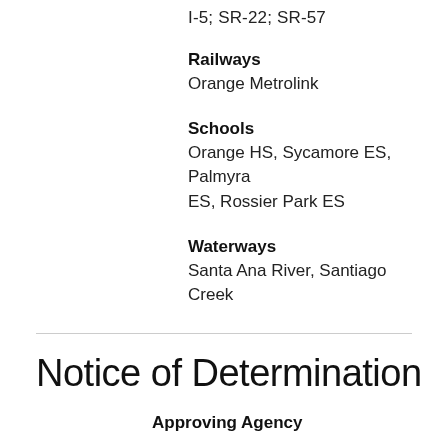I-5; SR-22; SR-57
Railways
Orange Metrolink
Schools
Orange HS, Sycamore ES, Palmyra ES, Rossier Park ES
Waterways
Santa Ana River, Santiago Creek
Notice of Determination
Approving Agency